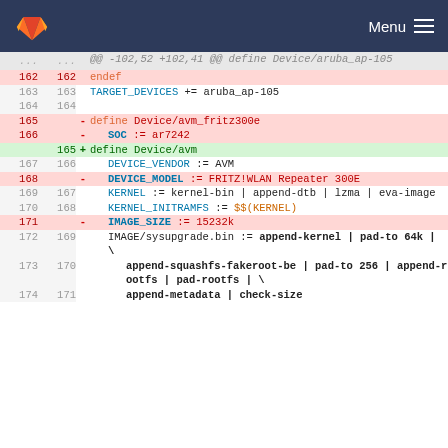GitLab — Menu
[Figure (screenshot): Git diff view showing changes to a Makefile for OpenWrt device definitions. Lines 162-174 shown with line numbers, addition/deletion markers, and syntax highlighting. Deleted lines (red background): define Device/avm_fritz300e, SOC := ar7242, DEVICE_MODEL := FRITZ!WLAN Repeater 300E, IMAGE_SIZE := 15232k. Added line (green background): define Device/avm. Neutral lines show TARGET_DEVICES, DEVICE_VENDOR, KERNEL, KERNEL_INITRAMFS, IMAGE/sysupgrade.bin, append-squashfs-fakeroot-be, append-metadata context.]